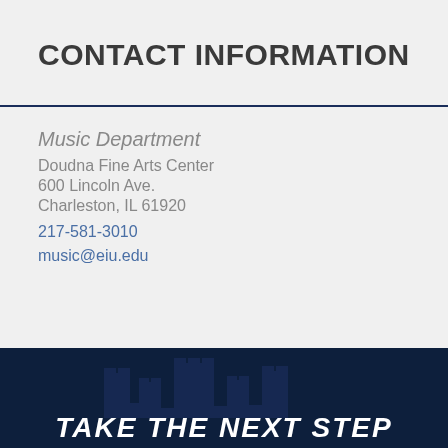CONTACT INFORMATION
Music Department
Doudna Fine Arts Center
600 Lincoln Ave.
Charleston, IL 61920
217-581-3010
music@eiu.edu
[Figure (illustration): Dark navy background with silhouette of castle/building structure and text 'TAKE THE NEXT STEP']